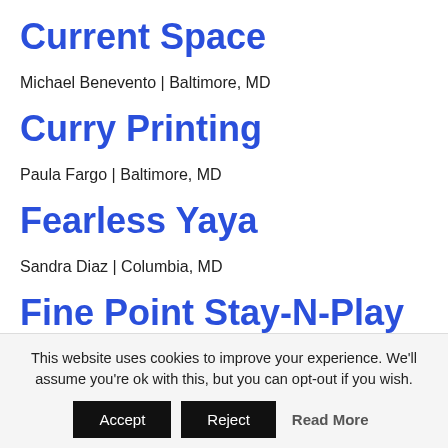Current Space
Michael Benevento | Baltimore, MD
Curry Printing
Paula Fargo | Baltimore, MD
Fearless Yaya
Sandra Diaz | Columbia, MD
Fine Point Stay-N-Play
Miriam Ray | Baltimore, MD
This website uses cookies to improve your experience. We'll assume you're ok with this, but you can opt-out if you wish.
Accept  Reject  Read More